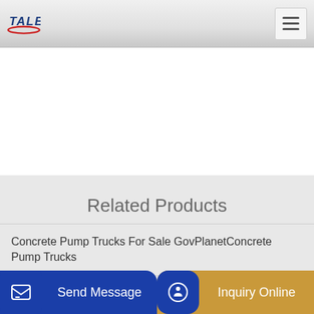TALENET
Related Products
Concrete Pump Trucks For Sale GovPlanetConcrete Pump Trucks
china concrete mixing plant hzs75 ready mix cement plant ZNH
China online SL station ...
Send Message
Inquiry Online